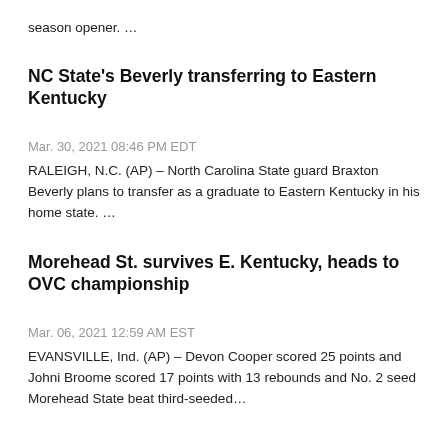season opener. …
NC State's Beverly transferring to Eastern Kentucky
Mar. 30, 2021 08:46 PM EDT
RALEIGH, N.C. (AP) – North Carolina State guard Braxton Beverly plans to transfer as a graduate to Eastern Kentucky in his home state. …
Morehead St. survives E. Kentucky, heads to OVC championship
Mar. 06, 2021 12:59 AM EST
EVANSVILLE, Ind. (AP) – Devon Cooper scored 25 points and Johni Broome scored 17 points with 13 rebounds and No. 2 seed Morehead State beat third-seeded…